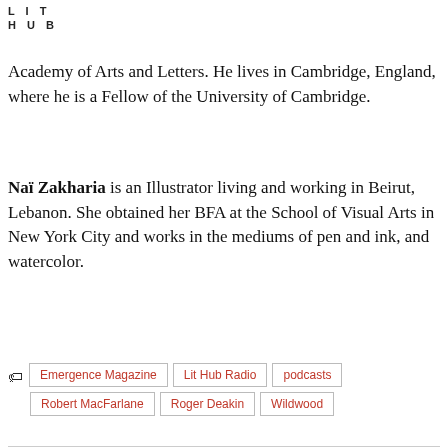LIT HUB
Academy of Arts and Letters. He lives in Cambridge, England, where he is a Fellow of the University of Cambridge.
Naï Zakharia is an Illustrator living and working in Beirut, Lebanon. She obtained her BFA at the School of Visual Arts in New York City and works in the mediums of pen and ink, and watercolor.
Emergence Magazine
Lit Hub Radio
podcasts
Robert MacFarlane
Roger Deakin
Wildwood